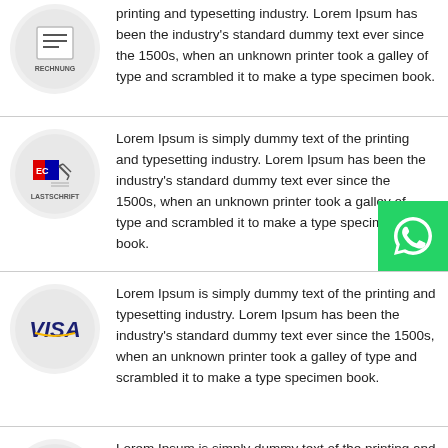printing and typesetting industry. Lorem Ipsum has been the industry's standard dummy text ever since the 1500s, when an unknown printer took a galley of type and scrambled it to make a type specimen book.
Lorem Ipsum is simply dummy text of the printing and typesetting industry. Lorem Ipsum has been the industry's standard dummy text ever since the 1500s, when an unknown printer took a galley of type and scrambled it to make a type specimen book.
Lorem Ipsum is simply dummy text of the printing and typesetting industry. Lorem Ipsum has been the industry's standard dummy text ever since the 1500s, when an unknown printer took a galley of type and scrambled it to make a type specimen book.
Lorem Ipsum is simply dummy text of the printing and typesetting industry. Lorem Ipsum has been the industry's standard dummy text